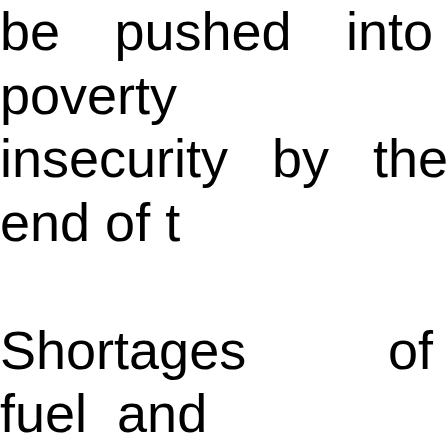be pushed into poverty insecurity by the end of t Shortages of fuel and many countries and a spikes in food prices t destabilize fragile societie hunger and malnutrit migration, and caus economic dislocation. C